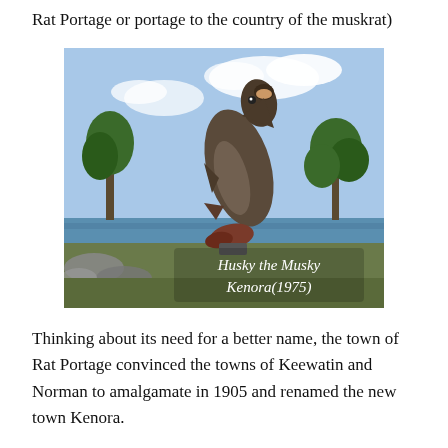Rat Portage or portage to the country of the muskrat)
[Figure (photo): A large fish statue (Husky the Musky) leaping upward against a blue sky with water and trees in the background. Text overlay reads 'Husky the Musky Kenora(1975)'.]
Thinking about its need for a better name, the town of Rat Portage convinced the towns of Keewatin and Norman to amalgamate in 1905 and renamed the new town Kenora.